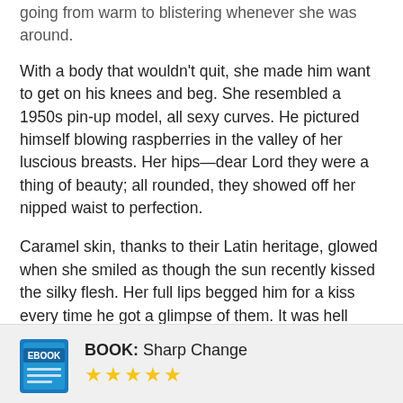going from warm to blistering whenever she was around.
With a body that wouldn't quit, she made him want to get on his knees and beg. She resembled a 1950s pin-up model, all sexy curves. He pictured himself blowing raspberries in the valley of her luscious breasts. Her hips—dear Lord they were a thing of beauty; all rounded, they showed off her nipped waist to perfection.
Caramel skin, thanks to their Latin heritage, glowed when she smiled as though the sun recently kissed the silky flesh. Her full lips begged him for a kiss every time he got a glimpse of them. It was hell holding back.
Those sexy, sleepy, gray eyes gave her the just-rolled-out-of-bed look and made his cock jerk whenever she turned them his way. Chase was not normally a fan of short hair, but her brown curls had him itching to run his fingers through the silky mass.
[Figure (illustration): eBook icon — a blue book icon with 'EBOOK' text]
BOOK: Sharp Change
[Figure (other): Four gold star rating]